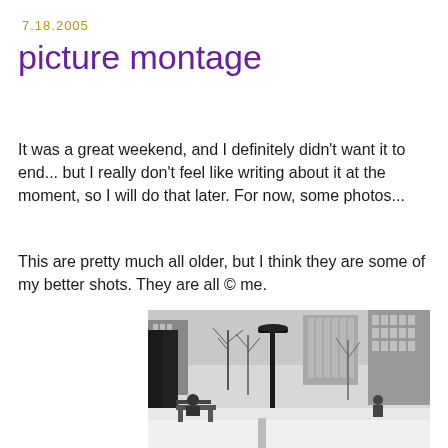7.18.2005
picture montage
It was a great weekend, and I definitely didn't want it to end... but I really don't feel like writing about it at the moment, so I will do that later. For now, some photos...
This are pretty much all older, but I think they are some of my better shots. They are all © me.
[Figure (photo): Black and white photograph of an urban park scene in winter with snow on the ground, a lamp post in the center, bare trees, benches with people sitting, and tall buildings in the background.]